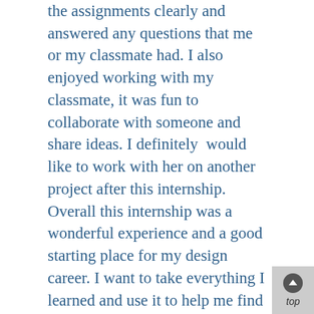the assignments clearly and answered any questions that me or my classmate had. I also enjoyed working with my classmate, it was fun to collaborate with someone and share ideas. I definitely  would like to work with her on another project after this internship. Overall this internship was a wonderful experience and a good starting place for my design career. I want to take everything I learned and use it to help me find other opportunities. I believe that wherever I go next on this adventure will only add to my skill set and I want to make sure to always challenge myself to make sure that I grow as a designer and not to stunt my growth. Right now I'm looking at extra classes online to see if there is anything that I can learn that